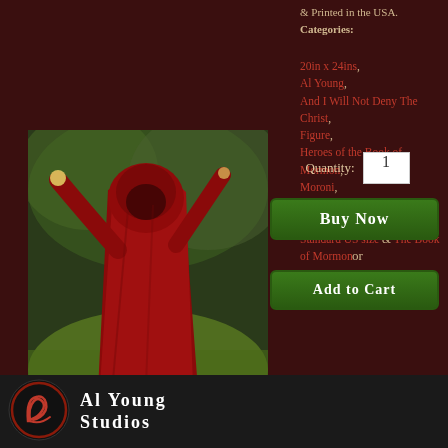& Printed in the USA. Categories:
20in x 24in
Al Young
And I Will Not Deny The Christ
Figure
Heroes of the Book of Mormon
Moroni
Open edition print
Standard International size
Standard US size
The Book of Mormon
[Figure (photo): A figure in a red hooded cloak standing in a field, arms raised holding a staff or weapon, painted in a dramatic fantasy art style]
Quantity: 1
Buy Now
or
Add to Cart
[Figure (logo): Al Young Studios logo - circular logo with stylized script letter inside a circle drawn in red/orange on black background]
Al Young Studios
Ships to US (including APO, FPO &